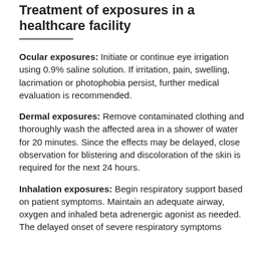Treatment of exposures in a healthcare facility
Ocular exposures: Initiate or continue eye irrigation using 0.9% saline solution. If irritation, pain, swelling, lacrimation or photophobia persist, further medical evaluation is recommended.
Dermal exposures: Remove contaminated clothing and thoroughly wash the affected area in a shower of water for 20 minutes. Since the effects may be delayed, close observation for blistering and discoloration of the skin is required for the next 24 hours.
Inhalation exposures: Begin respiratory support based on patient symptoms. Maintain an adequate airway, oxygen and inhaled beta adrenergic agonist as needed. The delayed onset of severe respiratory symptoms